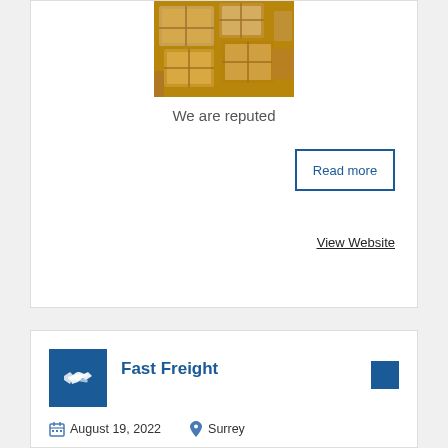[Figure (photo): Photo of stacked cardboard boxes/packages in a warehouse]
We are reputed
Read more
View Website
[Figure (logo): Fast Freight company logo — blue square with white handshake icon]
Fast Freight
August 19, 2022
Surrey
[Figure (photo): Partial image at bottom of second card]